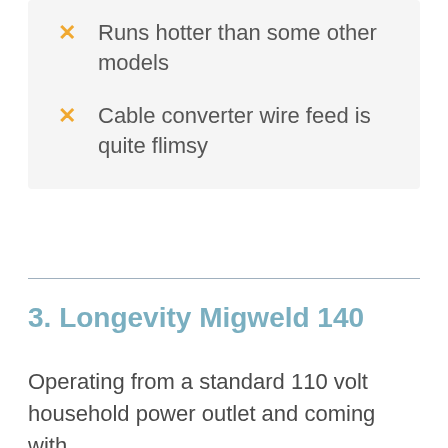Runs hotter than some other models
Cable converter wire feed is quite flimsy
3. Longevity Migweld 140
Operating from a standard 110 volt household power outlet and coming with